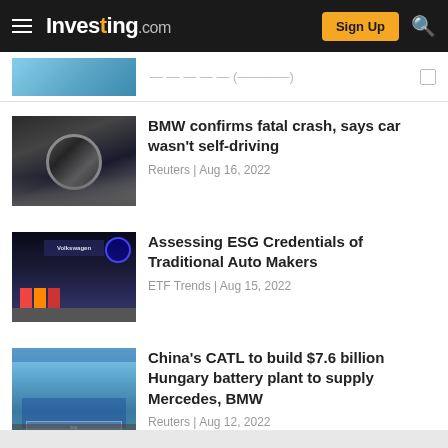Investing.com — Sign Up
[Figure (screenshot): Partially visible article thumbnail at top, cut off]
[Figure (photo): BMW logo on building, dark urban scene]
BMW confirms fatal crash, says car wasn't self-driving
Reuters | Aug 16, 2022
[Figure (photo): Volkswagen building with colorful flags at night with blue Ferris wheel]
Assessing ESG Credentials of Traditional Auto Makers
ETF Trends | Aug 15, 2022
[Figure (photo): CATL building exterior, blue facade with Chinese signage]
China's CATL to build $7.6 billion Hungary battery plant to supply Mercedes, BMW
Reuters | Aug 12, 2022